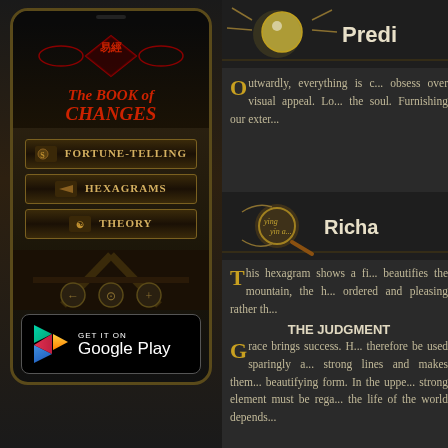[Figure (screenshot): Left panel showing a mobile app screenshot of 'The Book of Changes' app with Chinese characters, menu buttons for Fortune-Telling, Hexagrams, Theory, and a Google Play download button]
[Figure (illustration): Top right header area with crystal ball icon and 'Predi...' text]
Outwardly, everything is c... obsess over visual appeal. Lo... the soul. Furnishing our exter...
[Figure (illustration): Middle right header area with magnifying glass icon showing ying/yang and 'Richa...' text]
This hexagram shows a fi... beautifies the mountain, the h... ordered and pleasing rather th...
THE JUDGMENT
Grace brings success. H... therefore be used sparingly a... strong lines and makes them... beautifying form. In the uppe... strong element must be rega... the life of the world depends...